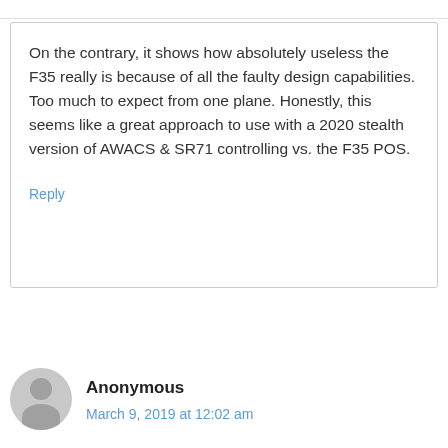On the contrary, it shows how absolutely useless the F35 really is because of all the faulty design capabilities. Too much to expect from one plane. Honestly, this seems like a great approach to use with a 2020 stealth version of AWACS & SR71 controlling vs. the F35 POS.
Reply
Anonymous
March 9, 2019 at 12:02 am